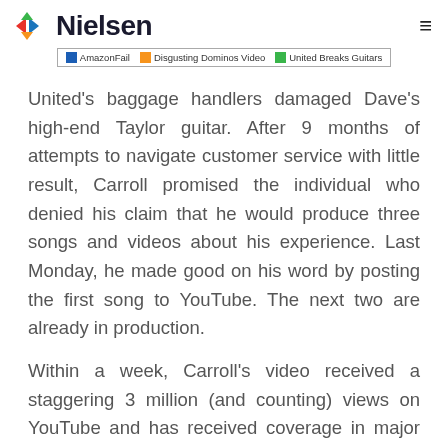Nielsen
[Figure (other): Chart legend showing three series: AmazonFail (blue), Disgusting Dominos Video (orange), United Breaks Guitars (green)]
United's baggage handlers damaged Dave's high-end Taylor guitar. After 9 months of attempts to navigate customer service with little result, Carroll promised the individual who denied his claim that he would produce three songs and videos about his experience. Last Monday, he made good on his word by posting the first song to YouTube. The next two are already in production.
Within a week, Carroll's video received a staggering 3 million (and counting) views on YouTube and has received coverage in major publications like USA Today,